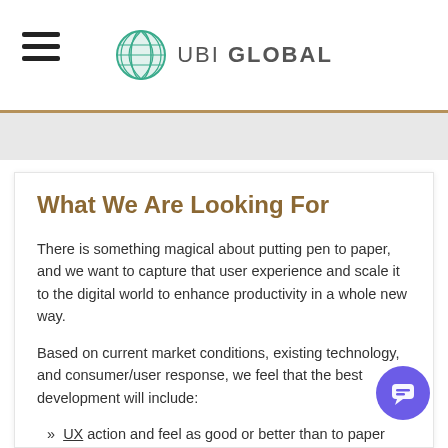UBI GLOBAL
What We Are Looking For
There is something magical about putting pen to paper, and we want to capture that user experience and scale it to the digital world to enhance productivity in a whole new way.
Based on current market conditions, existing technology, and consumer/user response, we feel that the best development will include:
» UX action and feel as good or better than to paper